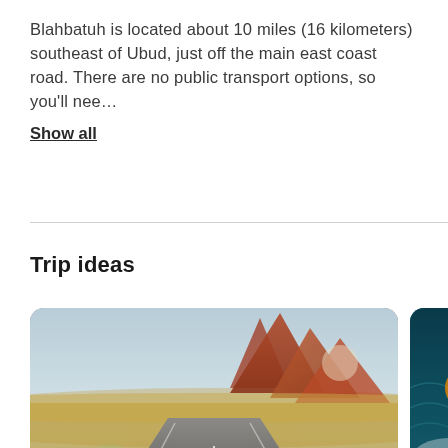Blahbatuh is located about 10 miles (16 kilometers) southeast of Ubud, just off the main east coast road. There are no public transport options, so you'll nee… Show all
Trip ideas
[Figure (photo): A classic dark green muscle car driving on a desert highway with red rock formations in the background under a hazy sky.]
[Figure (photo): Partial view of an aerial or ocean scene, partially cropped, showing dark teal water with a circular element visible.]